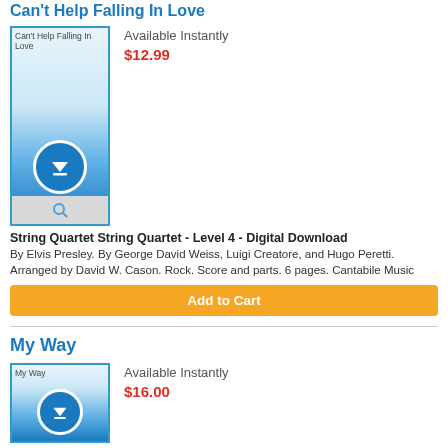Can't Help Falling In Love
[Figure (illustration): Product thumbnail for Can't Help Falling In Love sheet music with download icon]
Available Instantly
$12.99
String Quartet String Quartet - Level 4 - Digital Download
By Elvis Presley. By George David Weiss, Luigi Creatore, and Hugo Peretti. Arranged by David W. Cason. Rock. Score and parts. 6 pages. Cantabile Music
Add to Cart
My Way
[Figure (illustration): Product thumbnail for My Way sheet music with download icon]
Available Instantly
$16.00